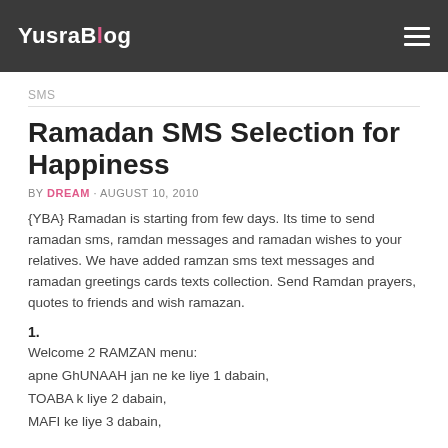YusraBlog
SMS
Ramadan SMS Selection for Happiness
BY DREAM · AUGUST 10, 2010
{YBA} Ramadan is starting from few days. Its time to send ramadan sms, ramdan messages and ramadan wishes to your relatives. We have added ramzan sms text messages and ramadan greetings cards texts collection. Send Ramdan prayers, quotes to friends and wish ramazan.
1.
Welcome 2 RAMZAN menu:
apne GhUNAAH jan ne ke liye 1 dabain,
TOABA k liye 2 dabain,
MAFI ke liye 3 dabain,